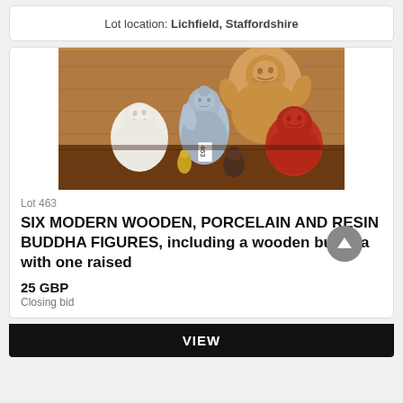Lot location: Lichfield, Staffordshire
[Figure (photo): Six Buddha figures arranged on a wooden shelf: a white seated laughing buddha, a blue/grey meditating buddha with one hand raised, a large wooden laughing buddha, a small gold figure, a dark small figure, and a red seated buddha.]
Lot 463
SIX MODERN WOODEN, PORCELAIN AND RESIN BUDDHA FIGURES, including a wooden buddha with one raised
25 GBP
Closing bid
VIEW